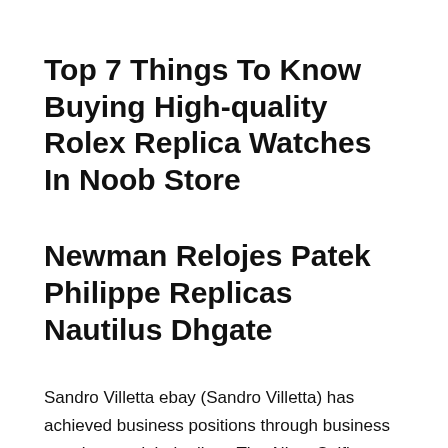Top 7 Things To Know Buying High-quality Rolex Replica Watches In Noob Store
Newman Relojes Patek Philippe Replicas Nautilus Dhgate
Sandro Villetta ebay (Sandro Villetta) has achieved business positions through business practices and their elites. The Aikon Selfie Skelet combines Morris Lacroix's main feature